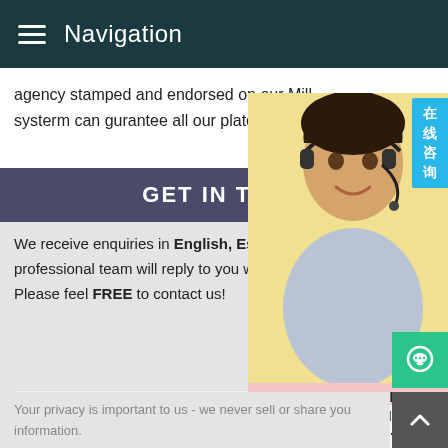Navigation
agency stamped and endorsed on our Mill systerm can gurantee all our plates are pr
GET IN TOUC
We receive enquiries in English, Espa professional team will reply to you withi Please feel FREE to contact us!
[Figure (photo): Customer service representative woman wearing a headset, with overlay text: MANUAL SERVICE, QUOTING ONLINE, Email: bsteel1@163.com, and Chinese badge reading 在线咨询]
Your Name:
Your E-mail:
Your privacy is important to us - we never sell or share you information.